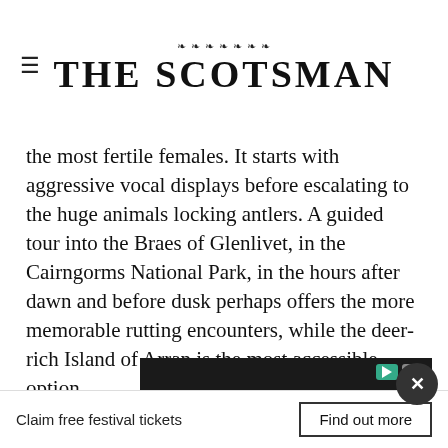THE SCOTSMAN
the most fertile females. It starts with aggressive vocal displays before escalating to the huge animals locking antlers. A guided tour into the Braes of Glenlivet, in the Cairngorms National Park, in the hours after dawn and before dusk perhaps offers the more memorable rutting encounters, while the deer-rich Island of Arran is the most accessible option.
Photo: Canva/Getty Images
[Figure (screenshot): Advertisement overlay: Download Helbiz and ride]
Claim free festival tickets
Find out more